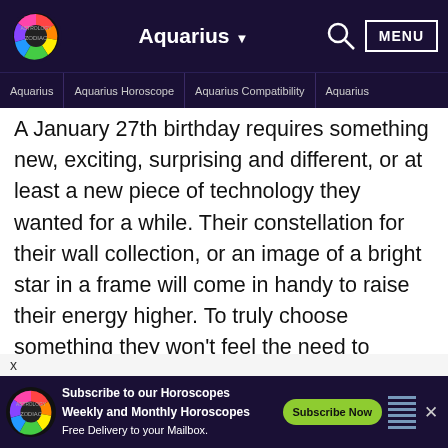Aquarius ▼  [search]  MENU
Aquarius | Aquarius Horoscope | Aquarius Compatibility | Aquarius
A January 27th birthday requires something new, exciting, surprising and different, or at least a new piece of technology they wanted for a while. Their constellation for their wall collection, or an image of a bright star in a frame will come in handy to raise their energy higher. To truly choose something they won't feel the need to exchange, listen to them talk about specific objects and ask the right questions. Their excitement makes them share enough information to guide the way.
[Figure (infographic): Advertisement banner: Subscribe to our Horoscopes Weekly and Monthly Horoscopes Free Delivery to your Mailbox. Subscribe Now button. Astrology Zodiac logo.]